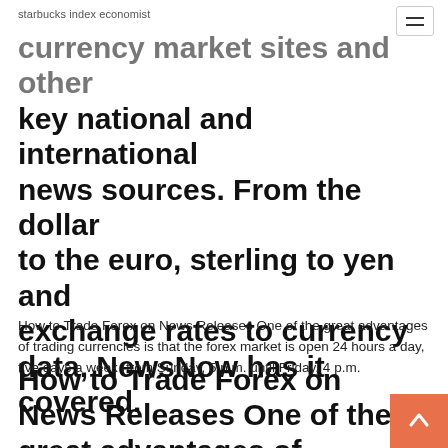starbucks index economist
currency market sites and other key national and international news sources. From the dollar to the euro, sterling to yen and exchange rates to currency data, NewsNow has it covered.
How to Trade Forex on News Releases One of the great advantages of trading currencies is that the forex market is open 24 hours a day, five days a week (from Sunday, 5 p.m. until Friday, 4 p.m.
How to Trade Forex on News Releases One of the great advantages of